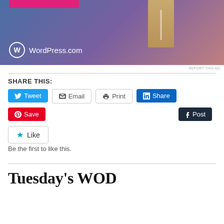[Figure (illustration): WordPress.com advertisement banner with blue-to-pink gradient background, pink bar at top, gold product block, and WordPress.com logo at bottom]
REPORT THIS AD
SHARE THIS:
Tweet
Email
Print
Share
Save
Post
Like
Be the first to like this.
Tuesday's WOD